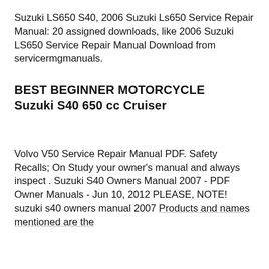Suzuki LS650 S40, 2006 Suzuki Ls650 Service Repair Manual: 20 assigned downloads, like 2006 Suzuki LS650 Service Repair Manual Download from servicermgmanuals.
BEST BEGINNER MOTORCYCLE Suzuki S40 650 cc Cruiser
Volvo V50 Service Repair Manual PDF. Safety Recalls; On Study your owner's manual and always inspect . Suzuki S40 Owners Manual 2007 - PDF Owner Manuals - Jun 10, 2012 PLEASE, NOTE! suzuki s40 owners manual 2007 Products and names mentioned are the